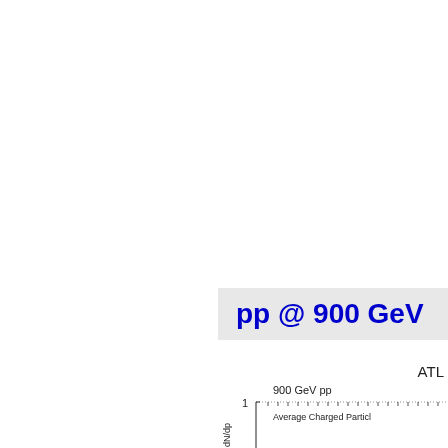[Figure (continuous-plot): Partial view of a physics plot showing Average Charged Particle multiplicity for pp @ 900 GeV from ATLAS. The label 'pp @ 900 GeV' is shown in a light grey box in blue bold text. Below is a partial axis label showing '1' on y-axis with 'dN/dp' as the y-axis label and 'Average Charged Particle' annotation visible. Title shows '900 GeV pp'.]